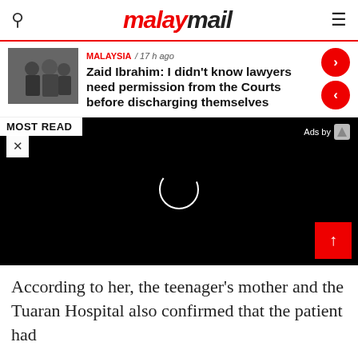malaymail
[Figure (photo): Thumbnail photo of people in dark clothing, possibly in masks, in a courtroom or formal setting]
MALAYSIA / 17 h ago
Zaid Ibrahim: I didn't know lawyers need permission from the Courts before discharging themselves
MOST READ
[Figure (screenshot): Black video player area with a loading spinner circle in the center and 'Ads by' label in top right. Red scroll-to-top button in bottom right.]
According to her, the teenager's mother and the Tuaran Hospital also confirmed that the patient had